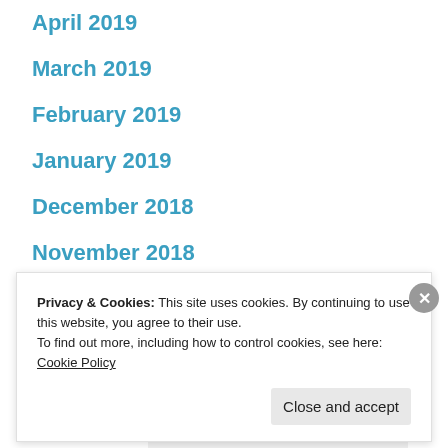April 2019
March 2019
February 2019
January 2019
December 2018
November 2018
October 2018
September 2018
Advertisements
Privacy & Cookies: This site uses cookies. By continuing to use this website, you agree to their use.
To find out more, including how to control cookies, see here: Cookie Policy
Close and accept